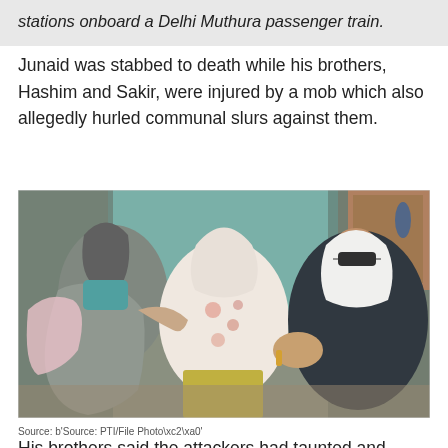stations onboard a Delhi Muthura passenger train.
Junaid was stabbed to death while his brothers, Hashim and Sakir, were injured by a mob which also allegedly hurled communal slurs against them.
[Figure (photo): Photo showing three women, one on the left in a grey saree, one in the center in a white and floral saree who appears to be crying, and one on the right in a dark outfit with sunglasses and a white dupatta. The two outer women appear to be consoling the woman in the center.]
Source: b'Source: PTI/File Photo\xc2\xa0'
His brothers said the attackers had taunted and